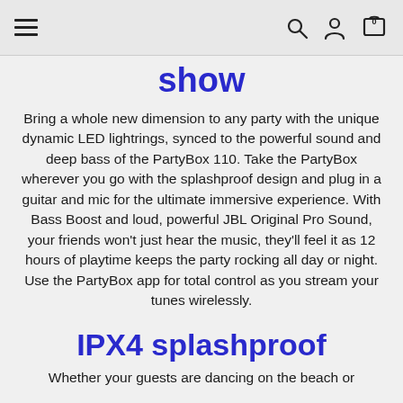Navigation bar with hamburger menu, search, account, and cart icons
show
Bring a whole new dimension to any party with the unique dynamic LED lightrings, synced to the powerful sound and deep bass of the PartyBox 110. Take the PartyBox wherever you go with the splashproof design and plug in a guitar and mic for the ultimate immersive experience. With Bass Boost and loud, powerful JBL Original Pro Sound, your friends won't just hear the music, they'll feel it as 12 hours of playtime keeps the party rocking all day or night. Use the PartyBox app for total control as you stream your tunes wirelessly.
IPX4 splashproof
Whether your guests are dancing on the beach or